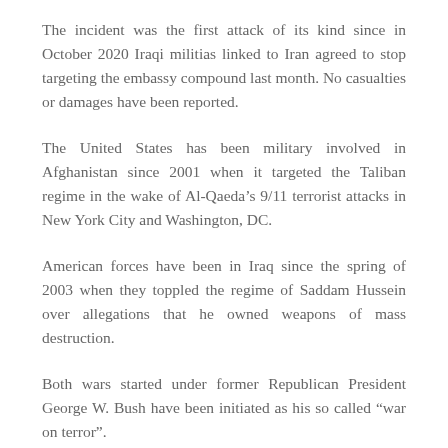The incident was the first attack of its kind since in October 2020 Iraqi militias linked to Iran agreed to stop targeting the embassy compound last month. No casualties or damages have been reported.
The United States has been military involved in Afghanistan since 2001 when it targeted the Taliban regime in the wake of Al-Qaeda's 9/11 terrorist attacks in New York City and Washington, DC.
American forces have been in Iraq since the spring of 2003 when they toppled the regime of Saddam Hussein over allegations that he owned weapons of mass destruction.
Both wars started under former Republican President George W. Bush have been initiated as his so called “war on terror”.
Source